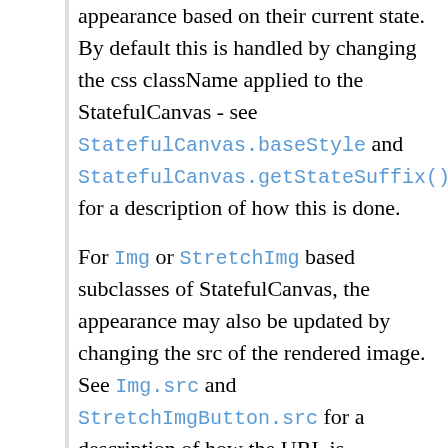appearance based on their current state. By default this is handled by changing the css className applied to the StatefulCanvas - see StatefulCanvas.baseStyle and StatefulCanvas.getStateSuffix() for a description of how this is done.
For Img or StretchImg based subclasses of StatefulCanvas, the appearance may also be updated by changing the src of the rendered image. See Img.src and StretchImgButton.src for a description of how the URL is modified to reflect the state of the widget in this case.
If this method is called after the component has been drawn/initialized: Sets the state of this object, changing its appearance. Note: newState cannot be State.STATE_DISABLED if